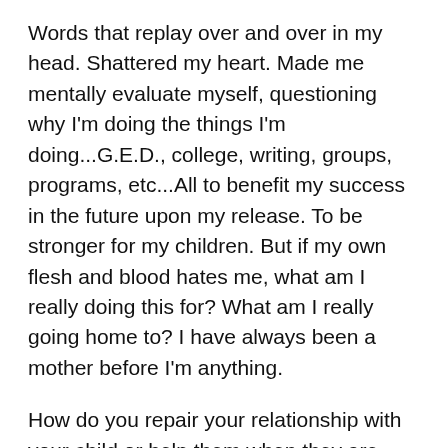Words that replay over and over in my head. Shattered my heart. Made me mentally evaluate myself, questioning why I'm doing the things I'm doing...G.E.D., college, writing, groups, programs, etc...All to benefit my success in the future upon my release. To be stronger for my children. But if my own flesh and blood hates me, what am I really doing this for? What am I really going home to? I have always been a mother before I'm anything.
How do you repair your relationship with your child or help them when they are crying out? These invisible handcuffs take away more than your physical freedom.